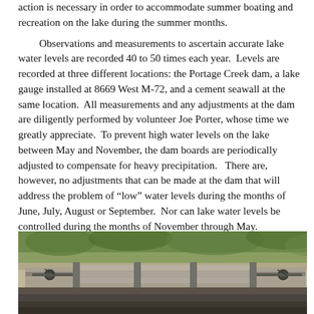action is necessary in order to accommodate summer boating and recreation on the lake during the summer months.
Observations and measurements to ascertain accurate lake water levels are recorded 40 to 50 times each year.  Levels are recorded at three different locations: the Portage Creek dam, a lake gauge installed at 8669 West M-72, and a cement seawall at the same location.  All measurements and any adjustments at the dam are diligently performed by volunteer Joe Porter, whose time we greatly appreciate.  To prevent high water levels on the lake between May and November, the dam boards are periodically adjusted to compensate for heavy precipitation.   There are, however, no adjustments that can be made at the dam that will address the problem of “low” water levels during the months of June, July, August or September.  Nor can lake water levels be controlled during the months of November through May.
[Figure (photo): Photograph of the Portage Creek dam structure showing dam boards and mechanical hardware in an outdoor setting with vegetation in the background.]